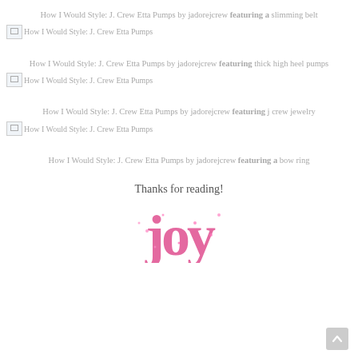How I Would Style: J. Crew Etta Pumps by jadorejcrew featuring a slimming belt
[Figure (photo): Broken image placeholder for 'How I Would Style: J. Crew Etta Pumps']
How I Would Style: J. Crew Etta Pumps by jadorejcrew featuring thick high heel pumps
[Figure (photo): Broken image placeholder for 'How I Would Style: J. Crew Etta Pumps']
How I Would Style: J. Crew Etta Pumps by jadorejcrew featuring j crew jewelry
[Figure (photo): Broken image placeholder for 'How I Would Style: J. Crew Etta Pumps']
How I Would Style: J. Crew Etta Pumps by jadorejcrew featuring a bow ring
Thanks for reading!
[Figure (logo): Pink glittery logo/monogram at the bottom of the page]